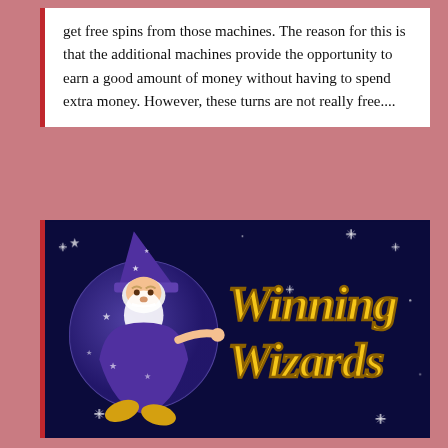get free spins from those machines. The reason for this is that the additional machines provide the opportunity to earn a good amount of money without having to spend extra money. However, these turns are not really free....
[Figure (illustration): Winning Wizards slot game logo banner: dark navy blue background with sparkle stars, a cartoon wizard character (elderly man with white beard, purple star-covered robe and hat, golden shoes) on the left, and large golden italic 'Winning Wizards' text on the right.]